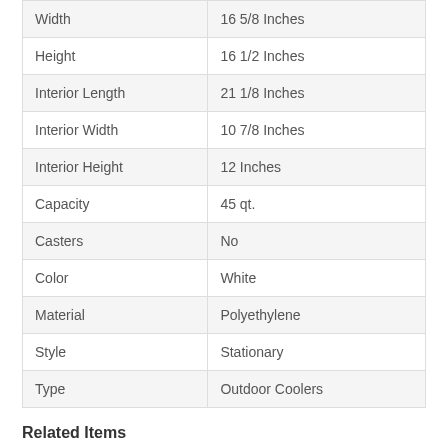| Attribute | Value |
| --- | --- |
| Width | 16 5/8 Inches |
| Height | 16 1/2 Inches |
| Interior Length | 21 1/8 Inches |
| Interior Width | 10 7/8 Inches |
| Interior Height | 12 Inches |
| Capacity | 45 qt. |
| Casters | No |
| Color | White |
| Material | Polyethylene |
| Style | Stationary |
| Type | Outdoor Coolers |
Related Items